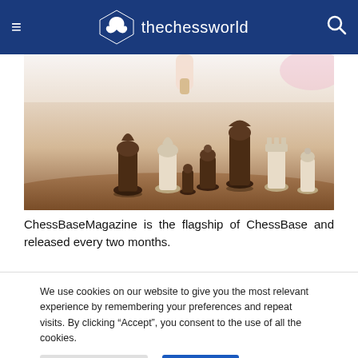thechessworld
[Figure (photo): Chess pieces on a board with a hand holding a piece above them, close-up shot with shallow depth of field]
ChessBaseMagazine is the flagship of ChessBase and released every two months.
We use cookies on our website to give you the most relevant experience by remembering your preferences and repeat visits. By clicking “Accept”, you consent to the use of all the cookies.